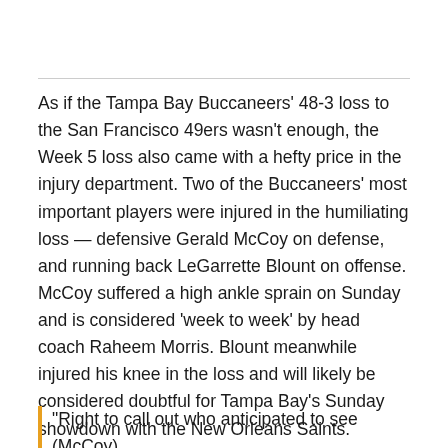As if the Tampa Bay Buccaneers' 48-3 loss to the San Francisco 49ers wasn't enough, the Week 5 loss also came with a hefty price in the injury department. Two of the Buccaneers' most important players were injured in the humiliating loss — defensive Gerald McCoy on defense, and running back LeGarrette Blount on offense. McCoy suffered a high ankle sprain on Sunday and is considered 'week to week' by head coach Raheem Morris. Blount meanwhile injured his knee in the loss and will likely be considered doubtful for Tampa Bay's Sunday showdown with the New Orleans Saints.
"Right to call out who anticipated to see (McCoy)...